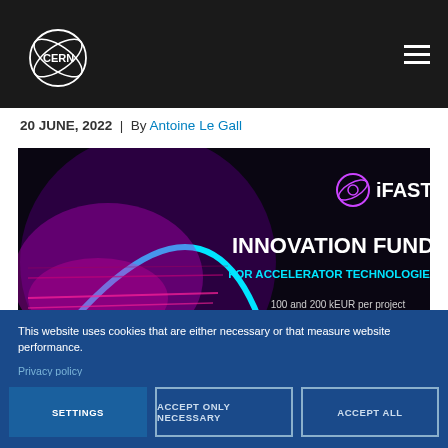[Figure (logo): CERN logo in white on dark header bar]
20 JUNE, 2022  |  By Antoine Le Gall
[Figure (infographic): iFAST Innovation Fund for Accelerator Technologies banner. Dark background with magenta/purple accelerator image on left, text on right: 'INNOVATION FUND FOR ACCELERATOR TECHNOLOGIES', '100 and 200 kEUR per project', 'Apply by 15 September 2022', 'ifast-project.eu/lif']
This website uses cookies that are either necessary or that measure website performance.
Privacy policy
Cookie documentation
SETTINGS
ACCEPT ONLY NECESSARY
ACCEPT ALL